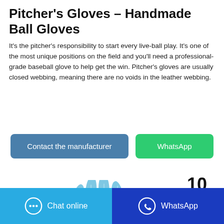Pitcher's Gloves – Handmade Ball Gloves
It's the pitcher's responsibility to start every live-ball play. It's one of the most unique positions on the field and you'll need a professional-grade baseball glove to help get the win. Pitcher's gloves are usually closed webbing, meaning there are no voids in the leather webbing.
[Figure (illustration): Two buttons side by side: a blue 'Contact the manufacturer' button and a green 'WhatsApp' button]
10
[Figure (illustration): A blue medical/rubber glove illustration]
Chat online   WhatsApp